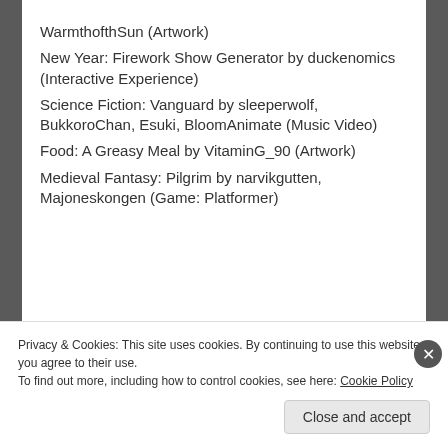WarmthofthSun (Artwork)
New Year: Firework Show Generator by duckenomics (Interactive Experience)
Science Fiction: Vanguard by sleeperwolf, BukkoroChan, Esuki, BloomAnimate (Music Video)
Food: A Greasy Meal by VitaminG_90 (Artwork)
Medieval Fantasy: Pilgrim by narvikgutten, Majoneskongen (Game: Platformer)
[Figure (screenshot): Jetpack advertisement banner with green background showing logo and 'Back up your site' call to action]
REPORT THIS AD
Privacy & Cookies: This site uses cookies. By continuing to use this website, you agree to their use.
To find out more, including how to control cookies, see here: Cookie Policy
Close and accept